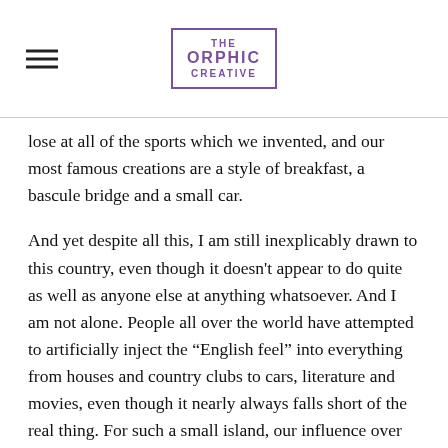THE ORPHIC CREATIVE
lose at all of the sports which we invented, and our most famous creations are a style of breakfast, a bascule bridge and a small car.
And yet despite all this, I am still inexplicably drawn to this country, even though it doesn't appear to do quite as well as anyone else at anything whatsoever. And I am not alone. People all over the world have attempted to artificially inject the “English feel” into everything from houses and country clubs to cars, literature and movies, even though it nearly always falls short of the real thing. For such a small island, our influence over modern culture is phenomenal.
So what is it then that England offers, which no other location in the world can lay claim to? Well, I think I may finally have come up with the answer: